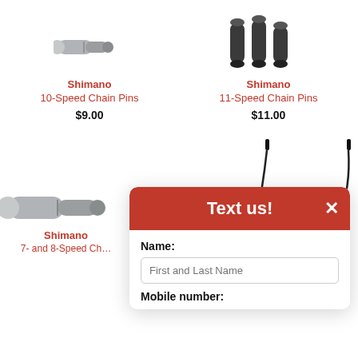[Figure (photo): Shimano 10-Speed Chain Pins product image — a small metal chain pin]
Shimano
10-Speed Chain Pins
$9.00
[Figure (photo): Shimano 11-Speed Chain Pins product image — three cylindrical metal pins]
Shimano
11-Speed Chain Pins
$11.00
[Figure (photo): Shimano 7- and 8-Speed Chain Pin product image — a long metal chain pin]
Shimano
7- and 8-Speed Ch…
[Figure (screenshot): Text us! popup overlay with Name and Mobile number fields]
Text us!
Name:
First and Last Name
Mobile number: